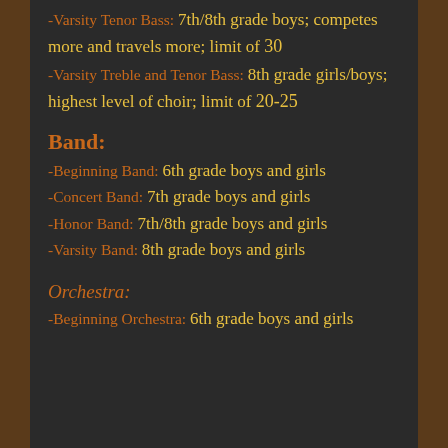-Varsity Tenor Bass: 7th/8th grade boys; competes more and travels more; limit of 30
-Varsity Treble and Tenor Bass: 8th grade girls/boys; highest level of choir; limit of 20-25
Band:
-Beginning Band: 6th grade boys and girls
-Concert Band: 7th grade boys and girls
-Honor Band: 7th/8th grade boys and girls
-Varsity Band: 8th grade boys and girls
Orchestra:
-Beginning Orchestra: 6th grade boys and girls